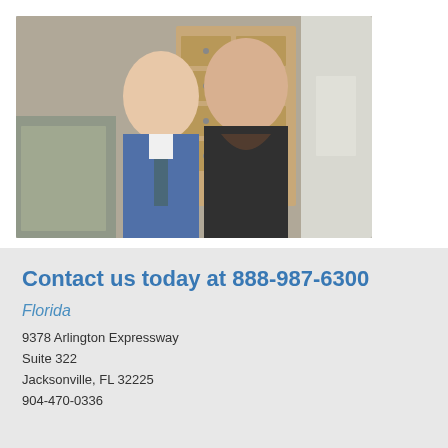[Figure (photo): Two men smiling and posing for a selfie inside what appears to be a shop or store. The man on the left wears a blue suit with a tie; the man on the right wears a dark jacket. Background shows wooden drawers and display cases.]
Contact us today at 888-987-6300
Florida
9378 Arlington Expressway
Suite 322
Jacksonville, FL 32225
904-470-0336